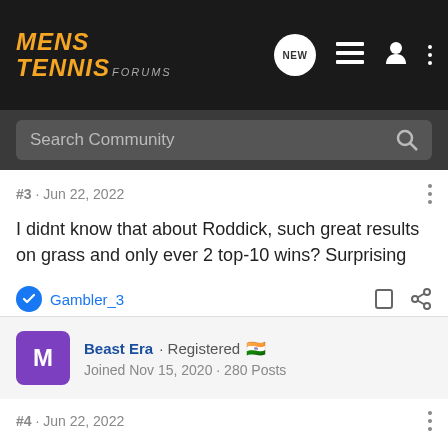Mens Tennis Forums
Search Community
#3 · Jun 22, 2022
I didnt know that about Roddick, such great results on grass and only ever 2 top-10 wins? Surprising
Gambler_3
Beast Era · Registered 🇮🇳
Joined Nov 15, 2020 · 280 Posts
#4 · Jun 22, 2022